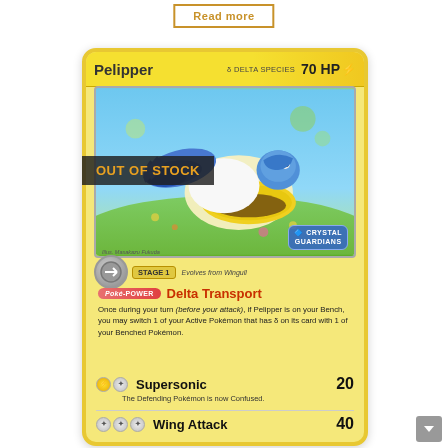Read more
OUT OF STOCK
[Figure (illustration): Pokemon Trading Card: Pelipper (Delta Species), 70 HP Lightning type, Stage 1, Crystal Guardians set. Card shows Pelipper bird Pokemon flying. Features Poke-POWER Delta Transport ability and attacks: Supersonic (20 damage) and Wing Attack (40 damage).]